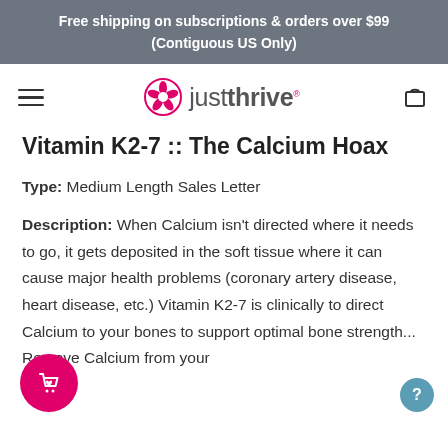Free shipping on subscriptions & orders over $99
(Contiguous US Only)
[Figure (logo): Just Thrive logo with pink flower icon and text 'justthrive']
Vitamin K2-7 :: The Calcium Hoax
Type: Medium Length Sales Letter
Description: When Calcium isn't directed where it needs to go, it gets deposited in the soft tissue where it can cause major health problems (coronary artery disease, heart disease, etc.) Vitamin K2-7 is clinically to direct Calcium to your bones to support optimal bone strength... Remove Calcium from your